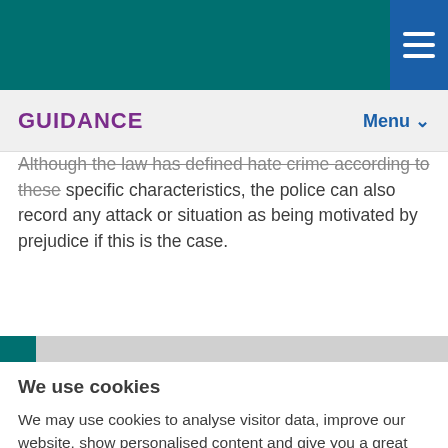GUIDANCE  Menu
Although the law has defined hate crime according to these specific characteristics, the police can also record any attack or situation as being motivated by prejudice if this is the case.
We use cookies
We may use cookies to analyse visitor data, improve our website, show personalised content and give you a great website experience. For more information about cookies on our site and to tailor the cookies we collect, select 'Manage settings'.
I'm OK with cookies  |  Manage settings